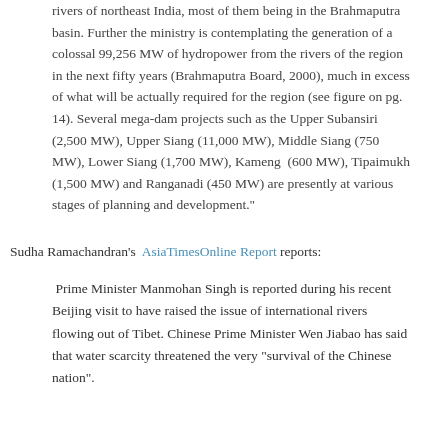rivers of northeast India, most of them being in the Brahmaputra basin. Further the ministry is contemplating the generation of a colossal 99,256 MW of hydropower from the rivers of the region in the next fifty years (Brahmaputra Board, 2000), much in excess of what will be actually required for the region (see figure on pg. 14). Several mega-dam projects such as the Upper Subansiri (2,500 MW), Upper Siang (11,000 MW), Middle Siang (750 MW), Lower Siang (1,700 MW), Kameng  (600 MW), Tipaimukh (1,500 MW) and Ranganadi (450 MW) are presently at various stages of planning and development."
Sudha Ramachandran's  AsiaTimesOnline Report  reports:
Prime Minister Manmohan Singh is reported during his recent Beijing visit to have raised the issue of international rivers flowing out of Tibet. Chinese Prime Minister Wen Jiabao has said that water scarcity threatened the very "survival of the Chinese nation".